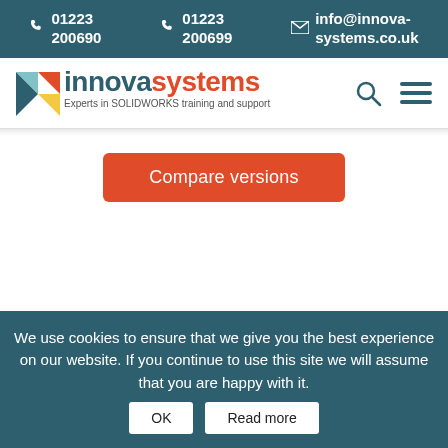01223 200690   01223 200699   info@innova-systems.co.uk
[Figure (logo): Innova Systems logo with arrow icon, text 'innovasystems' and tagline 'Experts in SOLIDWORKS training and support']
Compare versions
We use cookies to ensure that we give you the best experience on our website. If you continue to use this site we will assume that you are happy with it.
OK   Read more